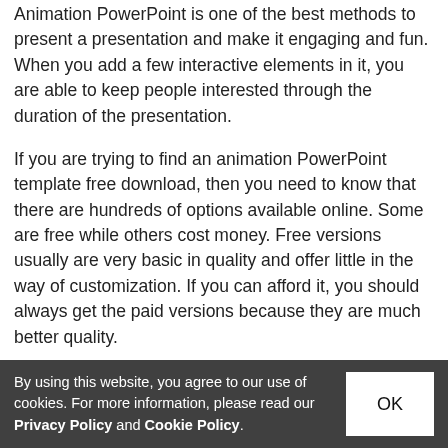Animation PowerPoint is one of the best methods to present a presentation and make it engaging and fun. When you add a few interactive elements in it, you are able to keep people interested through the duration of the presentation.
If you are trying to find an animation PowerPoint template free download, then you need to know that there are hundreds of options available online. Some are free while others cost money. Free versions usually are very basic in quality and offer little in the way of customization. If you can afford it, you should always get the paid versions because they are much better quality.
The best animation PowerPoint template free download is one that will give you the flexibility to customize the graphics. If you can't add anything to the presentation,
By using this website, you agree to our use of cookies. For more information, please read our Privacy Policy and Cookie Policy.